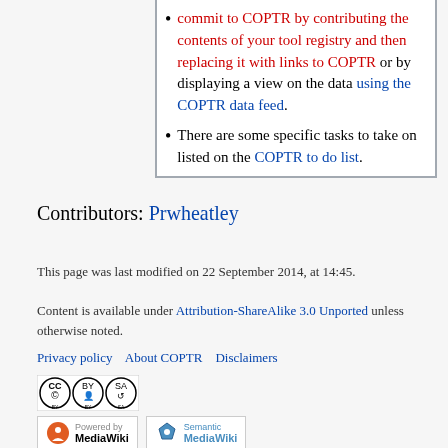commit to COPTR by contributing the contents of your tool registry and then replacing it with links to COPTR or by displaying a view on the data using the COPTR data feed.
There are some specific tasks to take on listed on the COPTR to do list.
Contributors: Prwheatley
This page was last modified on 22 September 2014, at 14:45.
Content is available under Attribution-ShareAlike 3.0 Unported unless otherwise noted.
Privacy policy  About COPTR  Disclaimers
[Figure (logo): Creative Commons Attribution-ShareAlike license badge (CC BY-SA)]
[Figure (logo): Powered by MediaWiki and Semantic MediaWiki badges]